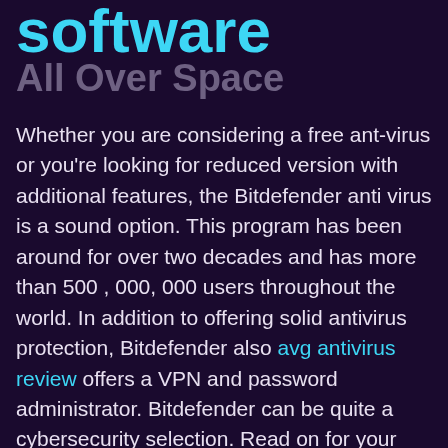software
All Over Space
Whether you are considering a free ant-virus or you're looking for reduced version with additional features, the Bitdefender anti virus is a sound option. This program has been around for over two decades and has more than 500 , 000, 000 users throughout the world. In addition to offering solid antivirus protection, Bitdefender also avg antivirus review offers a VPN and password administrator. Bitdefender can be quite a cybersecurity selection. Read on for your comparison of the best antivirus software programs and how come they're the